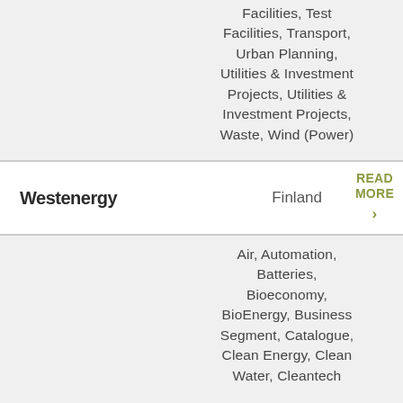Facilities, Test Facilities, Transport, Urban Planning, Utilities & Investment Projects, Utilities & Investment Projects, Waste, Wind (Power)
Westenergy
Finland
READ MORE >
Air, Automation, Batteries, Bioeconomy, BioEnergy, Business Segment, Catalogue, Clean Energy, Clean Water, Cleantech